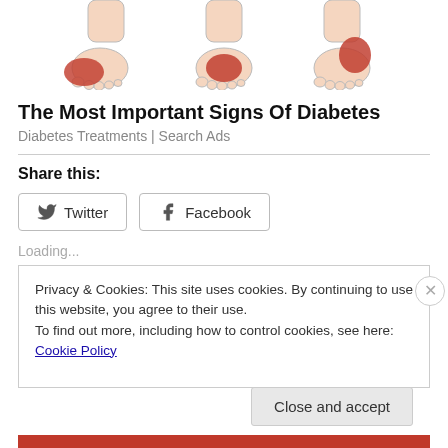[Figure (illustration): Three medical illustrations of feet/ankles showing redness and swelling in different areas, indicative of diabetic symptoms]
The Most Important Signs Of Diabetes
Diabetes Treatments | Search Ads
Share this:
Twitter  Facebook
Loading...
Privacy & Cookies: This site uses cookies. By continuing to use this website, you agree to their use.
To find out more, including how to control cookies, see here: Cookie Policy